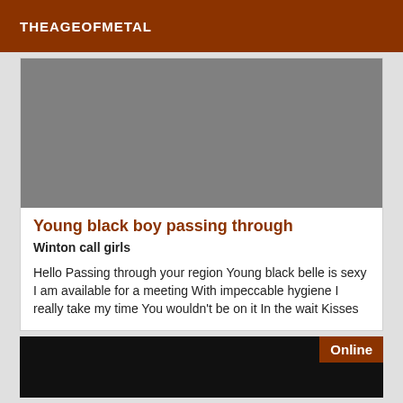THEAGEOFMETAL
[Figure (photo): Gray placeholder image for a listing]
Young black boy passing through
Winton call girls
Hello Passing through your region Young black belle is sexy I am available for a meeting With impeccable hygiene I really take my time You wouldn't be on it In the wait Kisses
[Figure (photo): Dark image with Online badge in the lower right corner]